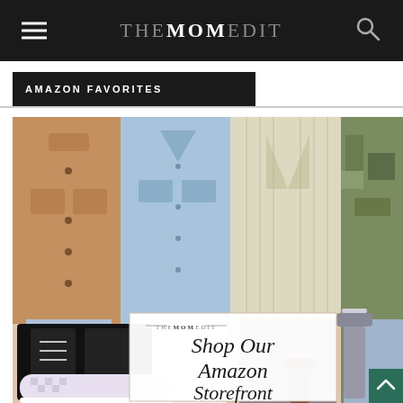THE MOM EDIT
AMAZON FAVORITES
[Figure (photo): Fashion collage on pink background showing four women modeling jackets (tan corduroy shacket, light blue denim jacket, cream striped blazer, olive camo jacket), black lace-up boots, checkered Vans slip-ons, nail polish bottles, and a white promotional overlay box reading: THE MOM EDIT — Shop Our Amazon Storefront]